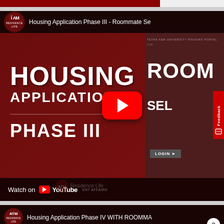[Figure (screenshot): YouTube video thumbnail for 'Housing Application Phase III - Roommate Selection' from Texas A&M Residence Life. Dark maroon background with large white bold text reading HOUSING APPLICATION PHASE III. YouTube play button overlay in center. Right side shows a second video thumbnail partially visible. Watch on YouTube bar at bottom.]
Housing Application Phase III - Roommate Se
HOUSING APPLICATION
PHASE III
Watch on YouTube
[Figure (screenshot): YouTube video thumbnail for 'Housing Application Phase IV WITH ROOMMATE' from Texas A&M Residence Life. Partially visible at bottom of page.]
Housing Application Phase IV WITH ROOMMA